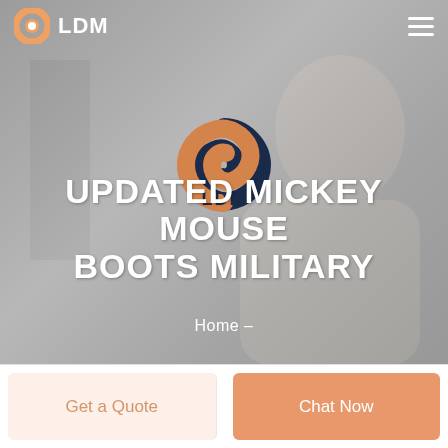LDM
[Figure (screenshot): Website hero section with background photo of a smiling man, showing the LDM logo (orange/dark swirl icon with LDM text) in the navbar, a hamburger menu icon, a centered LDM watermark logo, and the headline 'UPDATED MICKEY MOUSE BOOTS MILITARY' with 'Home –' breadcrumb below]
UPDATED MICKEY MOUSE BOOTS MILITARY
Home  –
Get a Quote
Chat Now